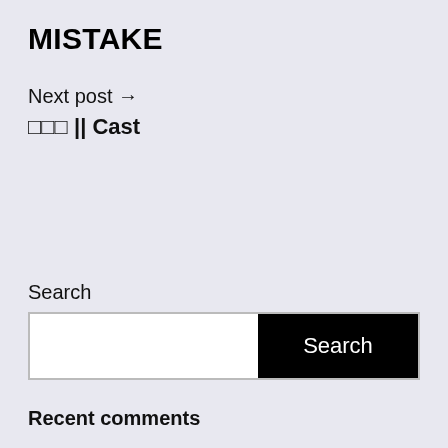MISTAKE
Next post →
□□□ || Cast
Search
Search
Recent comments